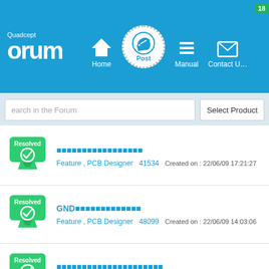Quadcept Forum - Post | Home | Manual | Contact Us
Search in the Forum | Select Product
Resolved - ■■■■■■■■■■■■■■■■■ - Feature, PCB Designer - 41534 - Created on: 22/06/09 17:21:27
Resolved - GND■■■■■■■■■■■■■ - Feature, PCB Designer - 48099 - Created on: 22/06/09 14:03:06
Resolved - ■■■■■■■■■■■■■■■■■■■■■ - Feature, PCB Designer - 47790 - Created on: 22/06/08 14:04:41
Resolved - ■■■■■■■■ - Feature, PCB Designer - 47798 - Created on: 22/06/07 13:40:2x